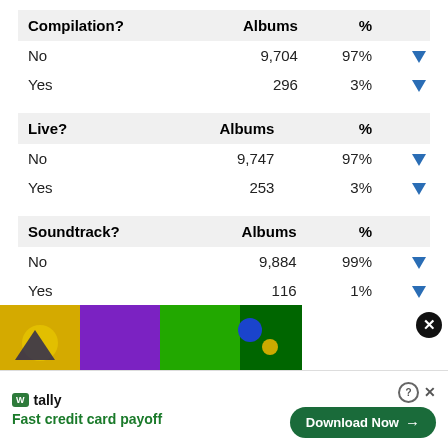| Compilation? | Albums | % |  |
| --- | --- | --- | --- |
| No | 9,704 | 97% | ▼ |
| Yes | 296 | 3% | ▼ |
| Live? | Albums | % |  |
| --- | --- | --- | --- |
| No | 9,747 | 97% | ▼ |
| Yes | 253 | 3% | ▼ |
| Soundtrack? | Albums | % |  |
| --- | --- | --- | --- |
| No | 9,884 | 99% | ▼ |
| Yes | 116 | 1% | ▼ |
[Figure (other): Colorful advertisement banner with yellow, purple, and green background]
tally Fast credit card payoff Download Now →